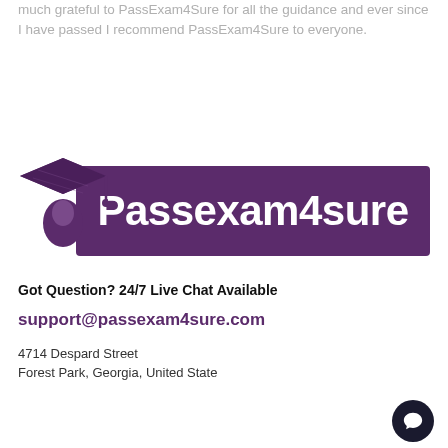much grateful to PassExam4Sure for all the guidance and ever since I have passed I recommend PassExam4Sure to everyone.
[Figure (logo): Passexam4sure logo with graduation cap on the left and purple banner with white bold text 'Passexam4sure']
Got Question? 24/7 Live Chat Available
support@passexam4sure.com
4714 Despard Street
Forest Park, Georgia, United State